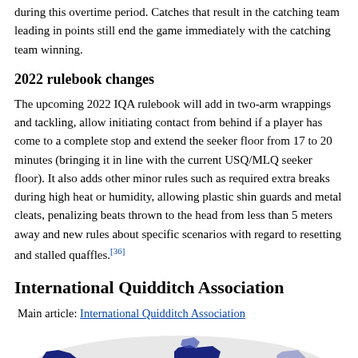during this overtime period. Catches that result in the catching team leading in points still end the game immediately with the catching team winning.
2022 rulebook changes
The upcoming 2022 IQA rulebook will add in two-arm wrappings and tackling, allow initiating contact from behind if a player has come to a complete stop and extend the seeker floor from 17 to 20 minutes (bringing it in line with the current USQ/MLQ seeker floor). It also adds other minor rules such as required extra breaks during high heat or humidity, allowing plastic shin guards and metal cleats, penalizing beats thrown to the head from less than 5 meters away and new rules about specific scenarios with regard to resetting and stalled quaffles.[36]
International Quidditch Association
Main article: International Quidditch Association
[Figure (map): World map showing countries with IQA membership highlighted in dark blue/navy, primarily North America and parts of Europe and other regions.]